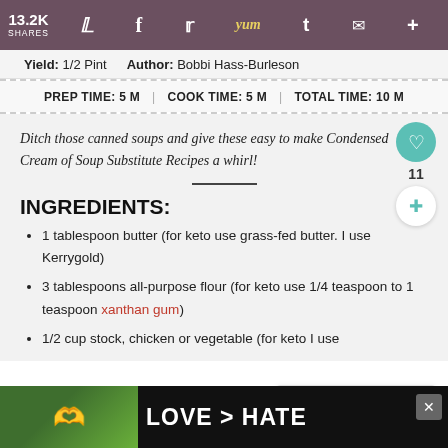13.2K SHARES | social share icons: Pinterest, Facebook, Twitter, Yum, Tumblr, Mail, Plus
Yield: 1/2 Pint   Author: Bobbi Hass-Burleson
PREP TIME: 5 M  |  COOK TIME: 5 M  |  TOTAL TIME: 10 M
Ditch those canned soups and give these easy to make Condensed Cream of Soup Substitute Recipes a whirl!
INGREDIENTS:
1 tablespoon butter (for keto use grass-fed butter. I use Kerrygold)
3 tablespoons all-purpose flour (for keto use 1/4 teaspoon to 1 teaspoon xanthan gum)
1/2 cup stock, chicken or vegetable (for keto I use
[Figure (infographic): WHAT'S NEXT advertisement box showing The Top 15 Recipes of...]
[Figure (photo): Advertisement bar at bottom: LOVE > HATE with hands forming a heart shape]